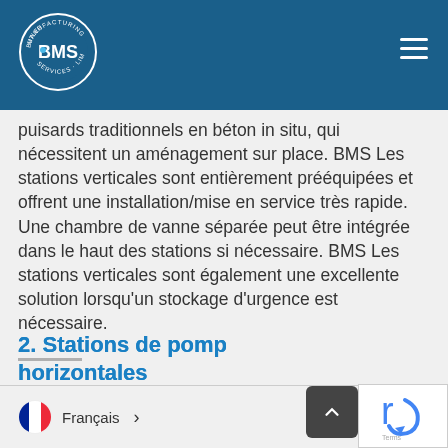BMS - Butler Manufacturing Services Limited
puisards traditionnels en béton in situ, qui nécessitent un aménagement sur place. BMS Les stations verticales sont entièrement préequipées et offrent une installation/mise en service très rapide. Une chambre de vanne séparée peut être intégrée dans le haut des stations si nécessaire. BMS Les stations verticales sont également une excellente solution lorsqu'un stockage d'urgence est nécessaire.
2. Stations de pompage horizontales